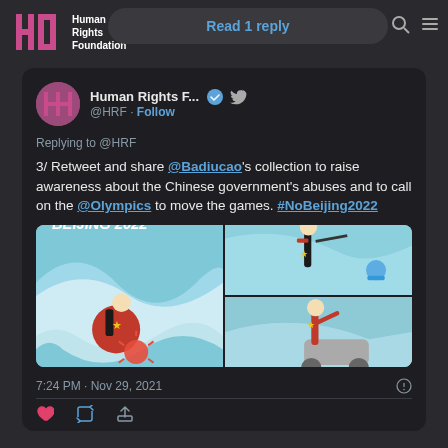Human Rights Foundation — Read 1 reply
[Figure (screenshot): Tweet from @HRF (Human Rights Foundation) replying to @HRF. Text: '3/ Retweet and share @Badiucao's collection to raise awareness about the Chinese government's abuses and to call on the @Olympics to move the games. #NoBeijing2022'. Includes 3 illustration images related to Beijing 2022. Timestamp: 7:24 PM · Nov 29, 2021]